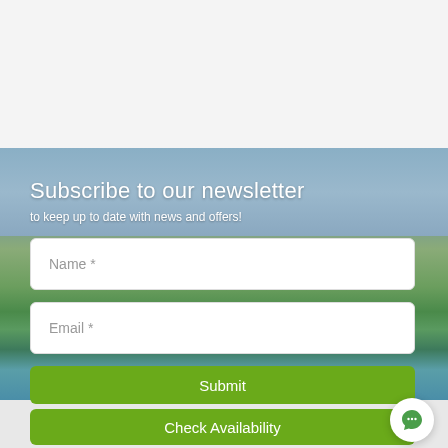[Figure (photo): Coastal landscape with green hills, rocky cliffs and blue sea under a gray-blue sky serving as background for newsletter subscription section]
Subscribe to our newsletter
to keep up to date with news and offers!
Name *
Email *
Submit
Check Availability